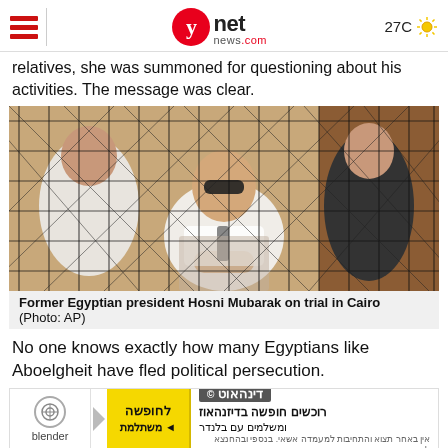ynet news.com | 27C
relatives, she was summoned for questioning about his activities. The message was clear.
[Figure (photo): Former Egyptian president Hosni Mubarak behind a metal cage/mesh during his trial in Cairo. He is wearing sunglasses and a white shirt.]
Former Egyptian president Hosni Mubarak on trial in Cairo  (Photo: AP)
No one knows exactly how many Egyptians like Aboelgheit have fled political persecution.
[Figure (other): Advertisement banner for Blender and Dynahaot. Hebrew text: רוכשים חופשה בדיזנהאוז ומשלמים עם בלנדר / לחופשה משתלמת. Small print in Hebrew beneath.]